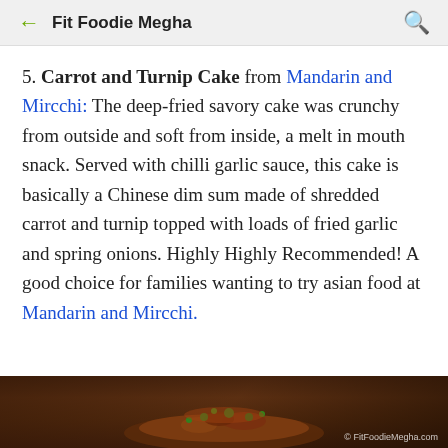← Fit Foodie Megha 🔍
5. Carrot and Turnip Cake from Mandarin and Mircchi: The deep-fried savory cake was crunchy from outside and soft from inside, a melt in mouth snack. Served with chilli garlic sauce, this cake is basically a Chinese dim sum made of shredded carrot and turnip topped with loads of fried garlic and spring onions. Highly Highly Recommended! A good choice for families wanting to try asian food at Mandarin and Mircchi.
[Figure (photo): Photo of Carrot and Turnip Cake dish with watermark © FitFoodieMegha.com]